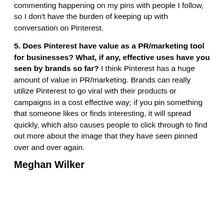commenting happening on my pins with people I follow, so I don't have the burden of keeping up with conversation on Pinterest.
5. Does Pinterest have value as a PR/marketing tool for businesses? What, if any, effective uses have you seen by brands so far? I think Pinterest has a huge amount of value in PR/marketing. Brands can really utilize Pinterest to go viral with their products or campaigns in a cost effective way; if you pin something that someone likes or finds interesting, it will spread quickly, which also causes people to click through to find out more about the image that they have seen pinned over and over again.
Meghan Wilker